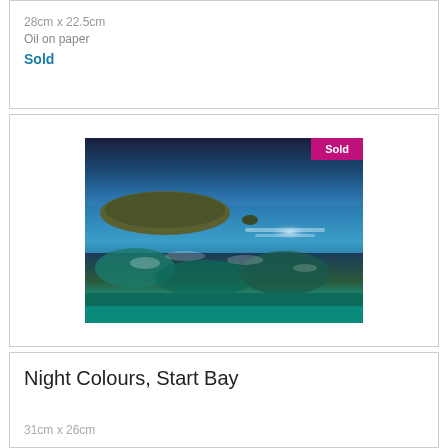28cm x 22.5cm
Oil on paper
Sold
[Figure (illustration): A seascape painting showing a bay at night with deep blue tones, coastal vegetation in the foreground, a headland in the middle distance, and a glowing light on the water. A magenta 'Sold' badge appears in the top right corner.]
Night Colours, Start Bay
31cm x 26cm